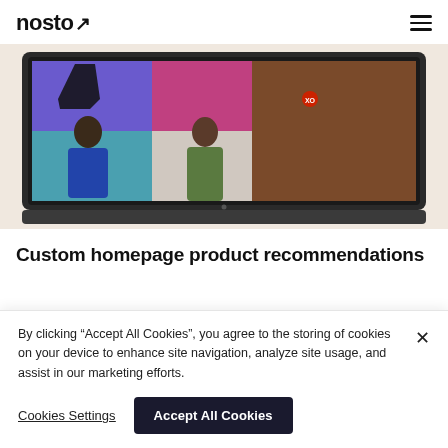nosto
[Figure (screenshot): Screenshot of a laptop displaying a colorful fashion e-commerce homepage with product images of models wearing clothing and accessories on a multi-colored grid background.]
Custom homepage product recommendations
By clicking “Accept All Cookies”, you agree to the storing of cookies on your device to enhance site navigation, analyze site usage, and assist in our marketing efforts.
Cookies Settings | Accept All Cookies